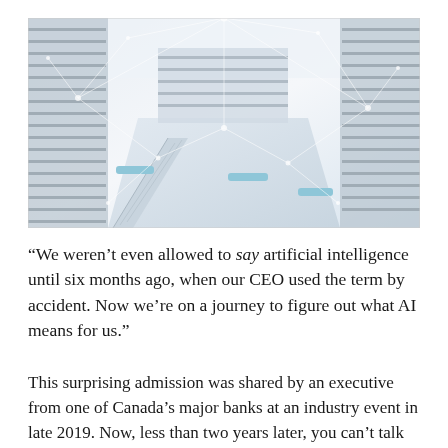[Figure (photo): Aerial view of a large modern multi-storey library interior with white shelving, staircases, and blue benches, overlaid with white digital network/AI connection lines]
“We weren’t even allowed to say artificial intelligence until six months ago, when our CEO used the term by accident. Now we’re on a journey to figure out what AI means for us.”
This surprising admission was shared by an executive from one of Canada’s major banks at an industry event in late 2019. Now, less than two years later, you can’t talk about financial services